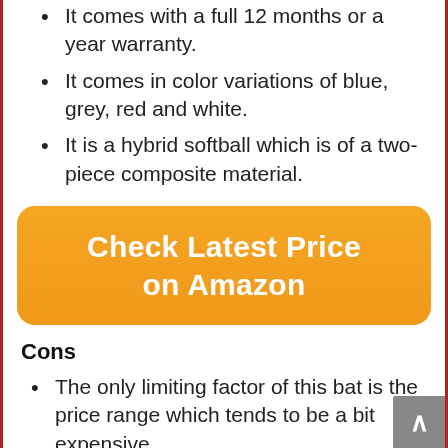It comes with a full 12 months or a year warranty.
It comes in color variations of blue, grey, red and white.
It is a hybrid softball which is of a two-piece composite material.
[Figure (other): Orange rounded button labeled 'Check Latest Price on Amazon']
Cons
The only limiting factor of this bat is the price range which tends to be a bit expensive.